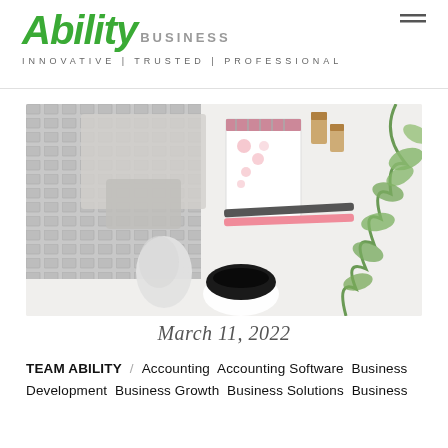Ability Business | INNOVATIVE | TRUSTED | PROFESSIONAL
[Figure (photo): Overhead flat lay of a laptop keyboard, trackpad, mouse, notepad with floral design, binder clips, two pens, a cup of black coffee, and eucalyptus branch on white background]
March 11, 2022
TEAM ABILITY / Accounting Accounting Software Business Development Business Growth Business Solutions Business